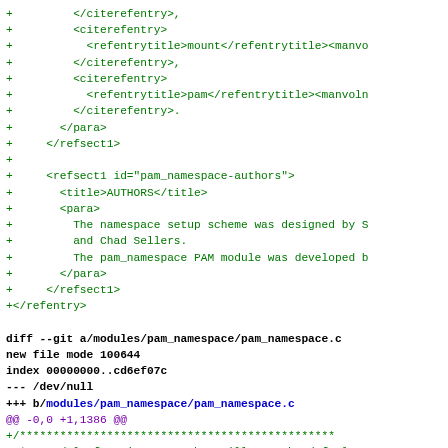diff hunk showing XML and C source additions in a git patch for pam_namespace module